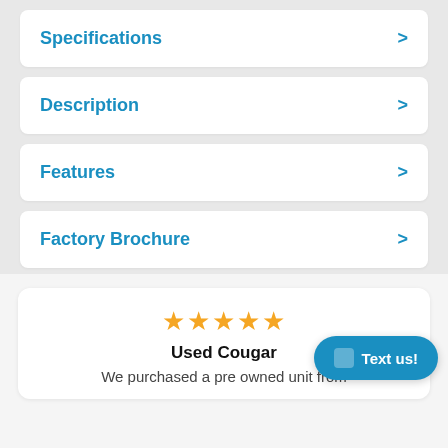Specifications
Description
Features
Factory Brochure
[Figure (other): Five gold stars rating]
Used Cougar
We purchased a pre owned unit from